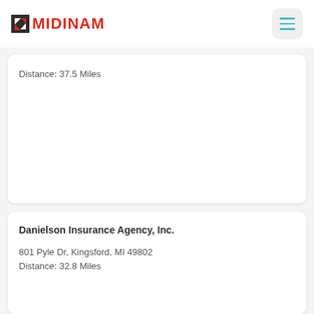MIDINAM
Distance: 37.5 Miles
Danielson Insurance Agency, Inc.
801 Pyle Dr, Kingsford, MI 49802
Distance: 32.8 Miles